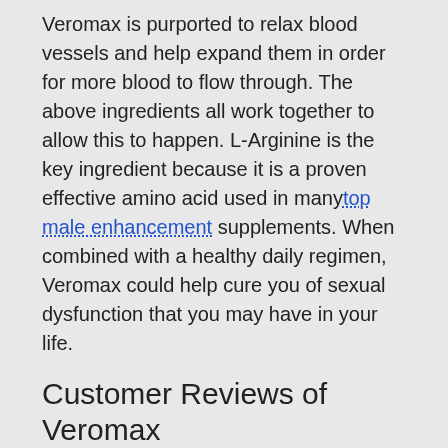Veromax is purported to relax blood vessels and help expand them in order for more blood to flow through. The above ingredients all work together to allow this to happen. L-Arginine is the key ingredient because it is a proven effective amino acid used in many top male enhancement supplements. When combined with a healthy daily regimen, Veromax could help cure you of sexual dysfunction that you may have in your life.
Customer Reviews of Veromax
There are not a lot of customer reviews on Veromax, so it makes us wonder just how effective this supplement is. Here is one negative review we came across:
In my opinion this product does absolutely nothing! I have tried this and it does not work in the slightest! If you have a problem, go to your doctor and get a prescription for